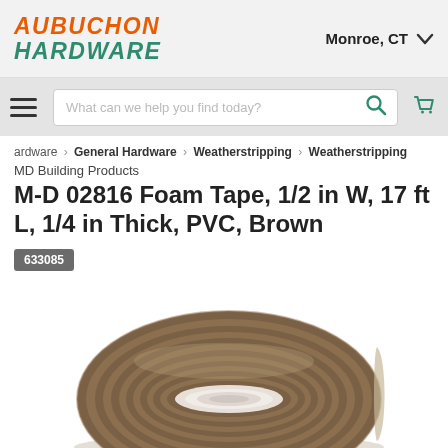[Figure (logo): Aubuchon Hardware logo in orange and teal italic bold text]
Monroe, CT
What can we help you find today?
ardware > General Hardware > Weatherstripping > Weatherstripping
MD Building Products
M-D 02816 Foam Tape, 1/2 in W, 17 ft L, 1/4 in Thick, PVC, Brown
633085
[Figure (photo): A roll of brown foam weatherstripping tape viewed from the side, showing multiple layers wound into a coil, white backing visible on the edge]